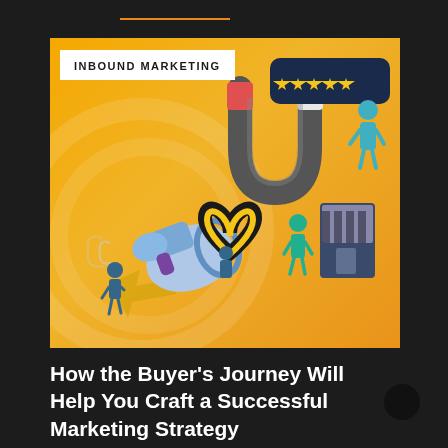[Figure (illustration): Inbound marketing illustration on yellow/orange background showing a megaphone, magnet, heart shape, smartphone/store, person with stars rating, and small human figures interacting with marketing icons. A white badge in top-left reads 'INBOUND MARKETING'.]
How the Buyer's Journey Will Help You Craft a Successful Marketing Strategy
January 4, 2022